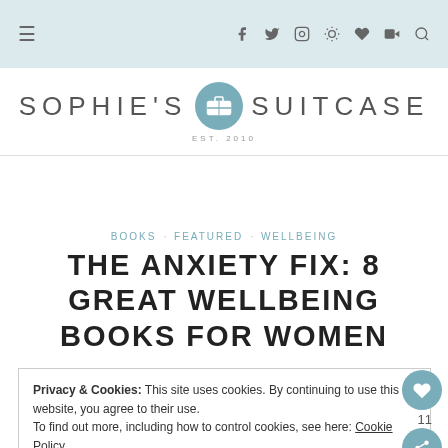≡   f  y  [instagram]  [pinterest]  [heart]  [youtube]  [search]
[Figure (logo): Sophie's Suitcase logo with suitcase icon in teal circle, EST. 2010]
BOOKS  FEATURED  WELLBEING
THE ANXIETY FIX: 8 GREAT WELLBEING BOOKS FOR WOMEN
Privacy & Cookies: This site uses cookies. By continuing to use this website, you agree to their use.
To find out more, including how to control cookies, see here: Cookie Policy
Close and accept